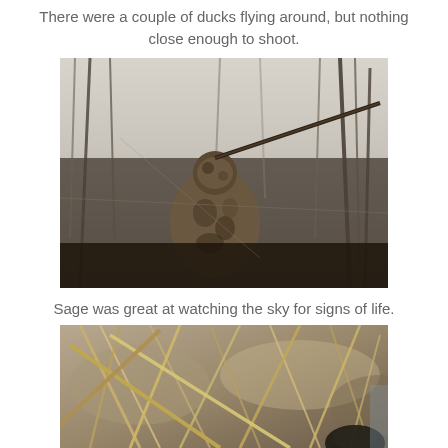There were a couple of ducks flying around, but nothing close enough to shoot.
[Figure (photo): A hunter in camouflage gear crouched in a duck blind made of tall dry grasses and reeds, holding a shotgun, with a pale winter sky in the background.]
Sage was great at watching the sky for signs of life.
[Figure (photo): Close-up macro shot of golden dry grass/reeds with a blurred dog nose visible at the bottom right, bokeh background.]